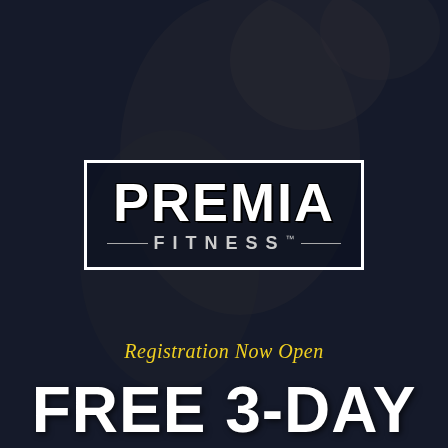[Figure (photo): Dark moody background photo of a person, partially visible face and raised arm, with dark blue-grey overlay tones suggesting a fitness/gym atmosphere]
[Figure (logo): Premia Fitness logo: white rectangular border containing 'PREMIA' in large bold white text above a dividing line with 'FITNESS™' in spaced white letters]
Registration Now Open
FREE 3-DAY